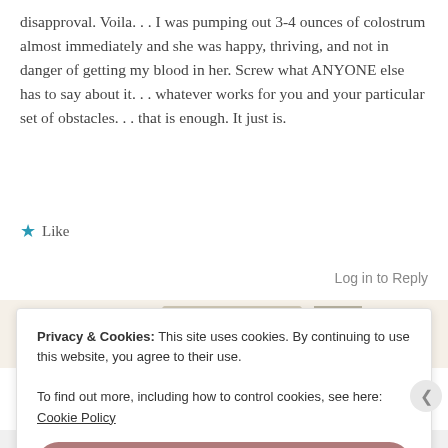disapproval. Voila. . . I was pumping out 3-4 ounces of colostrum almost immediately and she was happy, thriving, and not in danger of getting my blood in her. Screw what ANYONE else has to say about it. . . whatever works for you and your particular set of obstacles. . . that is enough. It just is.
★ Like
Log in to Reply
[Figure (screenshot): Advertisement banner with green 'Explore options' button and food/lifestyle imagery]
Privacy & Cookies: This site uses cookies. By continuing to use this website, you agree to their use.
To find out more, including how to control cookies, see here: Cookie Policy
Close and accept